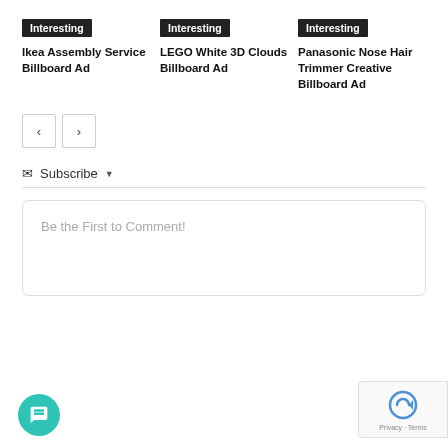Interesting
Ikea Assembly Service Billboard Ad
Interesting
LEGO White 3D Clouds Billboard Ad
Interesting
Panasonic Nose Hair Trimmer Creative Billboard Ad
< >
✉ Subscribe ▾
Be the First to Comment!